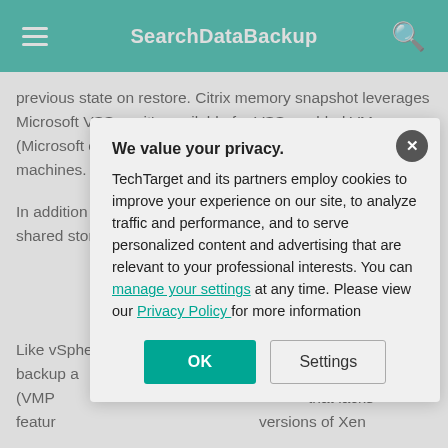SearchDataBackup
previous state on restore. Citrix memory snapshot leverages Microsoft VSS, so it's available for VSS-enabled VMs (Microsoft operating systems) but not for Linux virtual machines.
In addition to XenServer snapshots, XenServer supports shared storage snapshots that are supported by XenServer storage. The snapshot capabilities of an SR determine the best backup method to protect your VMs. Shared storage is only an option if you use shared storage supported by XenServer.
Like vSphere and Hyper-V, XenServer has its own image backup application called VM Protection and Recovery (VMPR) that was introduced in XenServer that lacks features compared to more current versions of Xen
We value your privacy.
TechTarget and its partners employ cookies to improve your experience on our site, to analyze traffic and performance, and to serve personalized content and advertising that are relevant to your professional interests. You can manage your settings at any time. Please view our Privacy Policy for more information